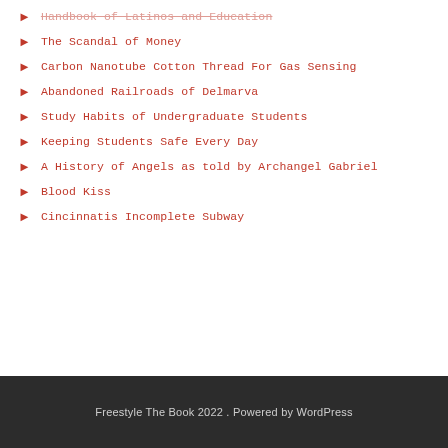Handbook of Latinos and Education
The Scandal of Money
Carbon Nanotube Cotton Thread For Gas Sensing
Abandoned Railroads of Delmarva
Study Habits of Undergraduate Students
Keeping Students Safe Every Day
A History of Angels as told by Archangel Gabriel
Blood Kiss
Cincinnatis Incomplete Subway
Freestyle The Book 2022 . Powered by WordPress